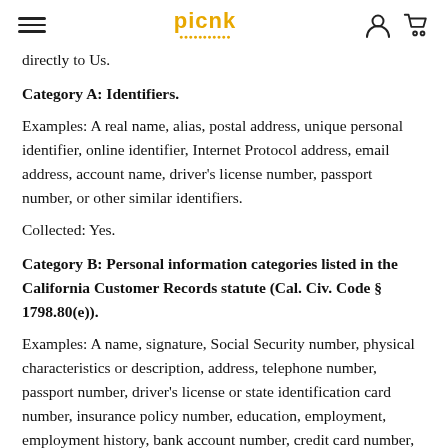picnk
directly to Us.
Category A: Identifiers.
Examples: A real name, alias, postal address, unique personal identifier, online identifier, Internet Protocol address, email address, account name, driver's license number, passport number, or other similar identifiers.
Collected: Yes.
Category B: Personal information categories listed in the California Customer Records statute (Cal. Civ. Code § 1798.80(e)).
Examples: A name, signature, Social Security number, physical characteristics or description, address, telephone number, passport number, driver's license or state identification card number, insurance policy number, education, employment, employment history, bank account number, credit card number, debit card number, or any other financial information, medical information, or health insurance information.